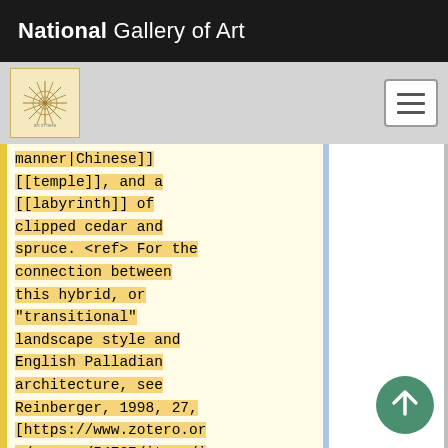National Gallery of Art
manner|Chinese]] [[temple]], and a [[labyrinth]] of clipped cedar and spruce. <ref> For the connection between this hybrid, or "transitional" landscape style and English Palladian architecture, see Reinberger, 1998, 27, [https://www.zotero.org/groups/54737/items/itemKey/UWBTRV23 view on Zotero]. </ref> Peters sited his house